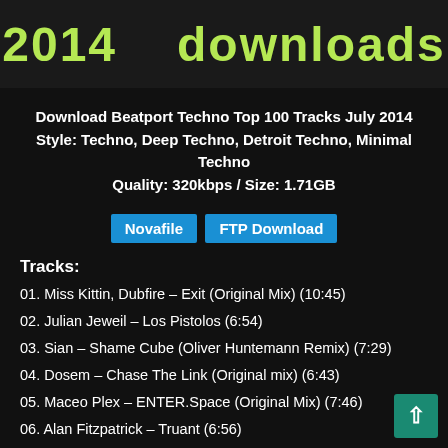[Figure (screenshot): Dark banner header with green text showing '2014' and 'downloads']
Download Beatport Techno Top 100 Tracks July 2014
Style: Techno, Deep Techno, Detroit Techno, Minimal Techno
Quality: 320kbps / Size: 1.71GB
Novafile  FTP Download
Tracks:
01. Miss Kittin, Dubfire – Exit (Original Mix) (10:45)
02. Julian Jeweil – Los Pistolos (6:54)
03. Sian – Shame Cube (Oliver Huntemann Remix) (7:29)
04. Dosem – Chase The Link (Original mix) (6:43)
05. Maceo Plex – ENTER.Space (Original Mix) (7:46)
06. Alan Fitzpatrick – Truant (6:56)
07. Julian Jeweil – Rainbow (6:24)
08. Paul Woolford – Erotic Discourse (Drums & Ri...